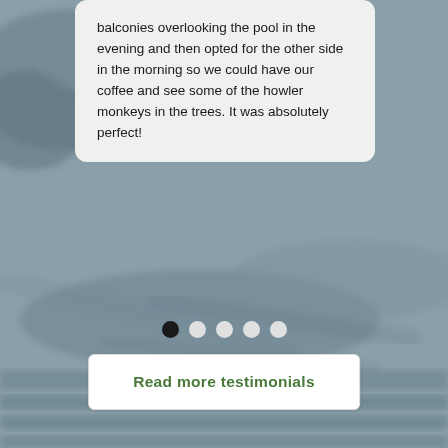[Figure (photo): Blurred outdoor background photo with grey-blue tones suggesting water or cloudy sky with rocks/landscape.]
balconies overlooking the pool in the evening and then opted for the other side in the morning so we could have our coffee and see some of the howler monkeys in the trees. It was absolutely perfect!
● ● ● ● ● (pagination dots, first dot active)
Read more testimonials